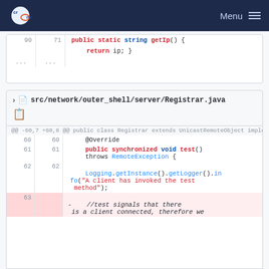crans | Menu
[Figure (screenshot): Partial code diff showing lines 90, 71 with 'public static string getIp() {' and 'return ip; }']
src/network/outer_shell/server/Registrar.java
@@ -60,7 +60,6 @@ public class Registrar extends UnicastRemoteObject implements RegisterInterface
60  60    @Override
61  61    public synchronized void test() throws RemoteException {
62  62
    Logging.getInstance().getLogger().info("A client has invoked the test method");
63   -   //test signals that there is a client connected, therefore we